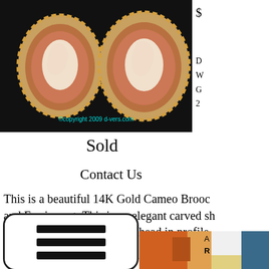[Figure (photo): Two oval 14K gold cameo earrings with carved shell cameo design of woman's head in profile, on dark background. Copyright watermark: ©copyright 2009 d-vers.com]
$
D
W
G
2
Sold
Contact Us
This is a beautiful 14K Gold Cameo Brooc and Earring set. This is an elegant carved sh cameo design of a woman's head in profile
[Figure (photo): Partial view of a colorful abstract painting with geometric shapes in orange, teal, white and brown tones]
[Figure (other): Menu/navigation icon with three horizontal bars inside a rounded rectangle]